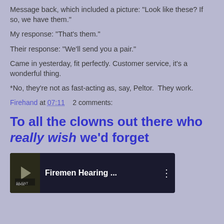Message back, which included a picture: "Look like these? If so, we have them."
My response: "That's them."
Their response: "We'll send you a pair."
Came in yesterday, fit perfectly. Customer service, it's a wonderful thing.
*No, they're not as fast-acting as, say, Peltor.  They work.
Firehand at 07:11    2 comments:
To all the clowns out there who really wish we'd forget
[Figure (screenshot): Video thumbnail showing 'Firemen Hearing ...' with a menu dots icon on the right, dark background with imagery on the left side, and a 'SILENT REPUB' badge in the bottom left corner.]